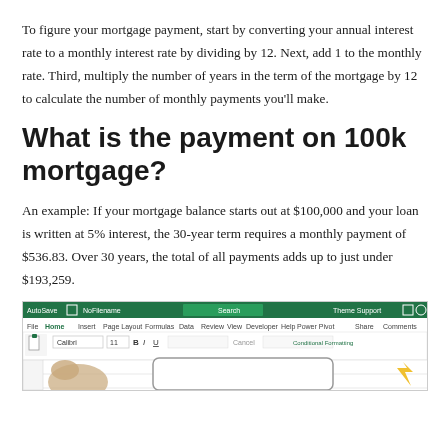To figure your mortgage payment, start by converting your annual interest rate to a monthly interest rate by dividing by 12. Next, add 1 to the monthly rate. Third, multiply the number of years in the term of the mortgage by 12 to calculate the number of monthly payments you'll make.
What is the payment on 100k mortgage?
An example: If your mortgage balance starts out at $100,000 and your loan is written at 5% interest, the 30-year term requires a monthly payment of $536.83. Over 30 years, the total of all payments adds up to just under $193,259.
[Figure (screenshot): Screenshot of Microsoft Excel spreadsheet showing a mortgage calculation worksheet with the Excel ribbon interface visible at the top including Home, Insert, Page Layout, Formulas, Data, Review, View, Developer, Help, Power Pivot tabs. A horse logo or illustration is partially visible in the lower left of the spreadsheet area.]